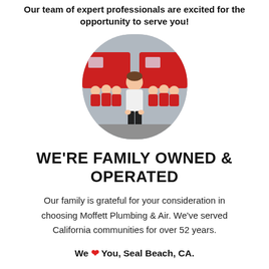Our team of expert professionals are excited for the opportunity to serve you!
[Figure (photo): Circular photo of a man in a white shirt standing in front of a team of employees in red uniforms and red company vans]
WE'RE FAMILY OWNED & OPERATED
Our family is grateful for your consideration in choosing Moffett Plumbing & Air. We've served California communities for over 52 years.
We ❤ You, Seal Beach, CA.